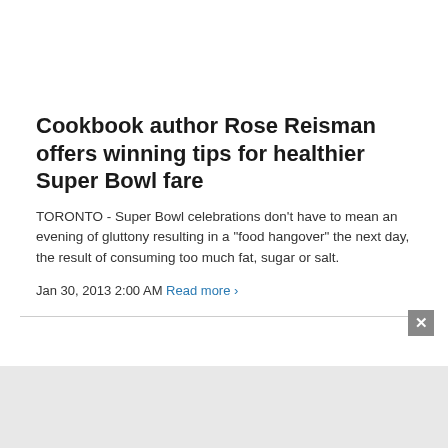Cookbook author Rose Reisman offers winning tips for healthier Super Bowl fare
TORONTO - Super Bowl celebrations don't have to mean an evening of gluttony resulting in a "food hangover" the next day, the result of consuming too much fat, sugar or salt.
Jan 30, 2013 2:00 AM Read more >